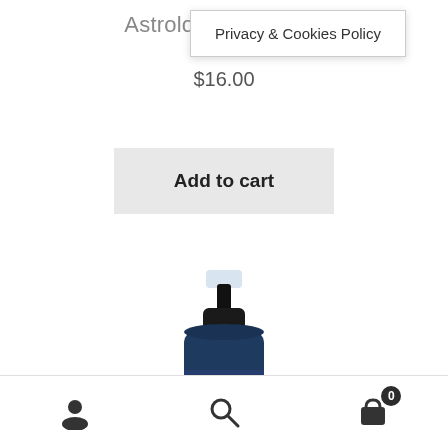Astrology Arom...eo
$16.00
Privacy & Cookies Policy
Add to cart
[Figure (photo): Scorpio aromatherapy spray bottle with dark blue label reading 'Scorpio The Scorpion I DESIRE October 23-November 21 Fixed Water Sign Ruling Planet: Pluto Ambitious, Determined, Mysterious, Passionate']
User icon | Search icon | Cart icon (0)